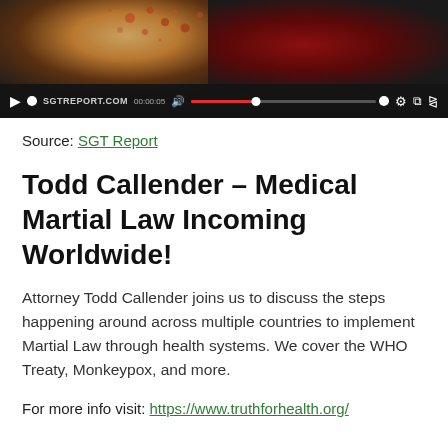[Figure (screenshot): Video player showing SGT Report content with virus imagery background and playback controls bar at bottom showing SGTREPORT.COM branding, progress bar, volume and settings icons.]
Source: SGT Report
Todd Callender – Medical Martial Law Incoming Worldwide!
Attorney Todd Callender joins us to discuss the steps happening around across multiple countries to implement Martial Law through health systems. We cover the WHO Treaty, Monkeypox, and more.
For more info visit: https://www.truthforhealth.org/